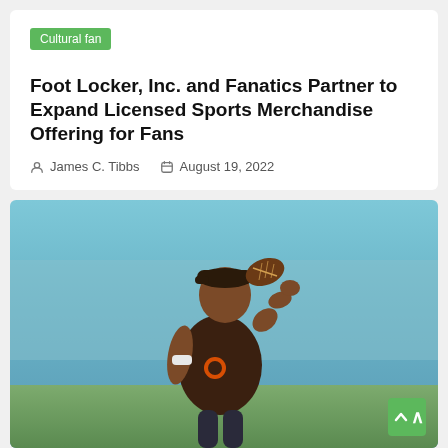Cultural fan
Foot Locker, Inc. and Fanatics Partner to Expand Licensed Sports Merchandise Offering for Fans
James C. Tibbs   August 19, 2022
[Figure (photo): NFL quarterback in Cleveland Browns brown t-shirt and cap, winding up to throw a football, photographed on a field with blurred background.]